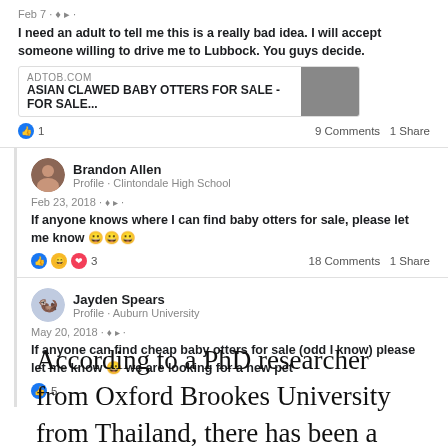[Figure (screenshot): Facebook post: Feb 7, user says 'I need an adult to tell me this is a really bad idea. I will accept someone willing to drive me to Lubbock. You guys decide.' with a link preview from ADTOB.COM 'ASIAN CLAWED BABY OTTERS FOR SALE - FOR SALE...' and reactions: 1 like, 9 Comments, 1 Share]
[Figure (screenshot): Facebook post by Brandon Allen, Profile - Clintondale High School, Feb 23, 2018: 'If anyone knows where I can find baby otters for sale, please let me know [emojis]' with 3 reactions, 18 Comments, 1 Share]
[Figure (screenshot): Facebook post by Jayden Spears, Profile - Auburn University, May 20, 2018: 'If anyone can find cheap baby otters for sale (odd I know) please let me know [emoji] we are looking for a new pet' with 5 reactions]
According to a PhD researcher from Oxford Brookes University from Thailand, there has been a rapid increase in the number of posts aimed at the sale of otters.  As per his observations, Facebook is the most popular medium that is used for the purpose of offering the sale of both illegal and legal wildlife that are to be sold as pets.